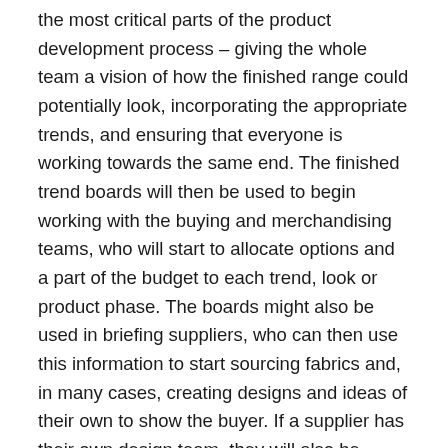the most critical parts of the product development process – giving the whole team a vision of how the finished range could potentially look, incorporating the appropriate trends, and ensuring that everyone is working towards the same end. The finished trend boards will then be used to begin working with the buying and merchandising teams, who will start to allocate options and a part of the budget to each trend, look or product phase. The boards might also be used in briefing suppliers, who can then use this information to start sourcing fabrics and, in many cases, creating designs and ideas of their own to show the buyer. If a supplier has their own design team, they will also be completing this process in tandem with the retailers, so that they too can create trend boards, designs and suggestions for discussion with the buying team. The key to making these trend boards productive is customer